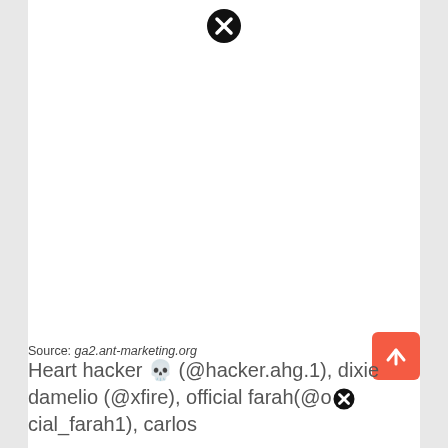[Figure (other): Black circle with white X close button at top center of page]
Source: ga2.ant-marketing.org
Heart hacker 💀 (@hacker.ahg.1), dixie damelio (@xfire), official farah(@official_farah1), carlos
[Figure (other): Orange/red square button with white upward arrow (scroll-to-top button)]
[Figure (other): Black circle with white X close button overlaid inline in text]